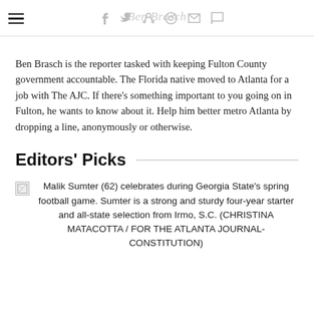Ben Brasch [nav icons: hamburger, f, twitter, pinterest, reddit, mail, comment]
Ben Brasch is the reporter tasked with keeping Fulton County government accountable. The Florida native moved to Atlanta for a job with The AJC. If there's something important to you going on in Fulton, he wants to know about it. Help him better metro Atlanta by dropping a line, anonymously or otherwise.
Editors' Picks
Malik Sumter (62) celebrates during Georgia State's spring football game. Sumter is a strong and sturdy four-year starter and all-state selection from Irmo, S.C. (CHRISTINA MATACOTTA / FOR THE ATLANTA JOURNAL-CONSTITUTION)